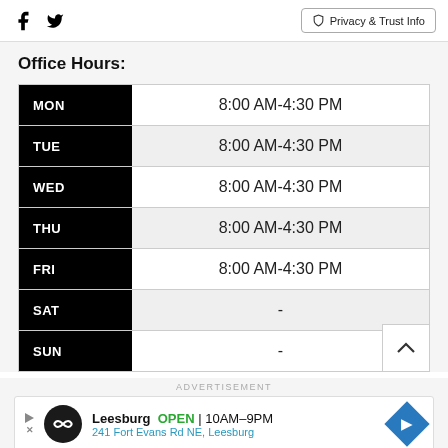Facebook | Twitter | Privacy & Trust Info
Office Hours:
| Day | Hours |
| --- | --- |
| MON | 8:00 AM-4:30 PM |
| TUE | 8:00 AM-4:30 PM |
| WED | 8:00 AM-4:30 PM |
| THU | 8:00 AM-4:30 PM |
| FRI | 8:00 AM-4:30 PM |
| SAT | - |
| SUN | - |
ADVERTISEMENT
Leesburg OPEN 10AM–9PM 241 Fort Evans Rd NE, Leesburg